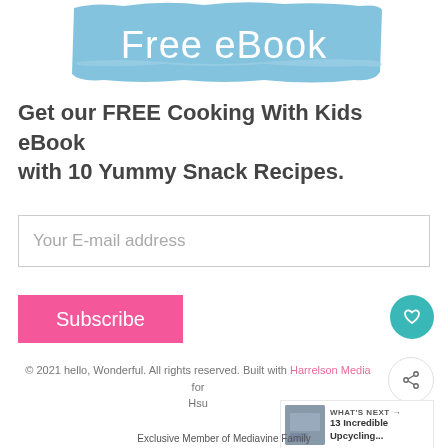[Figure (illustration): Blue brushstroke banner with white text 'Free eBook']
Get our FREE Cooking With Kids eBook with 10 Yummy Snack Recipes.
Your E-mail address
Subscribe
© 2021 hello, Wonderful. All rights reserved. Built with Harrelson Media for Hsu
WHAT'S NEXT → 13 Incredible Upcycling...
Exclusive Member of Mediavine Family